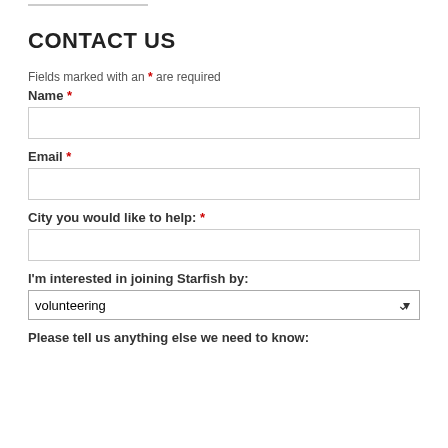CONTACT US
Fields marked with an * are required
Name *
Email *
City you would like to help: *
I'm interested in joining Starfish by:
volunteering
Please tell us anything else we need to know: